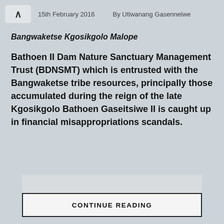15th February 2016   By Utlwanang Gasennelwe
Bangwaketse Kgosikgolo Malope
Bathoen II Dam Nature Sanctuary Management Trust (BDNSMT) which is entrusted with the Bangwaketse tribe resources, principally those accumulated during the reign of the late Kgosikgolo Bathoen Gaseitsiwe II is caught up in financial misappropriations scandals.
CONTINUE READING